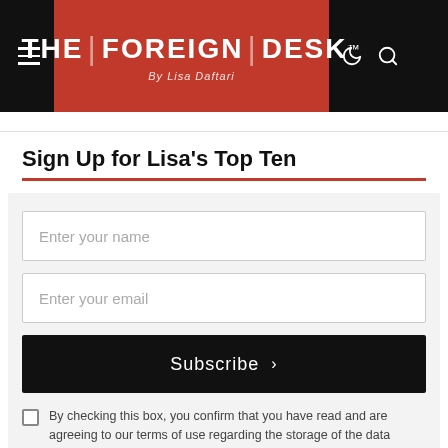THE | FOREIGN | DESK™ By Lisa Daftari
Sign Up for Lisa's Top Ten
Enter your name
Enter your email
Subscribe >
By checking this box, you confirm that you have read and are agreeing to our terms of use regarding the storage of the data submitted through this form.